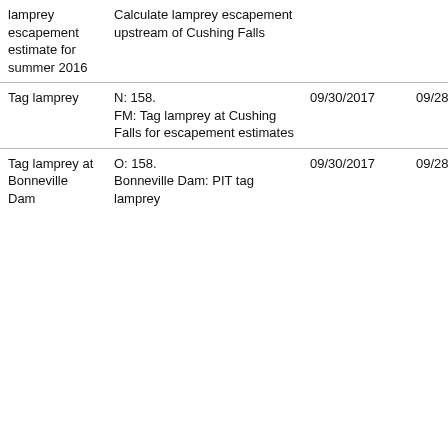| lamprey escapement estimate for summer 2016 | Calculate lamprey escapement upstream of Cushing Falls |  |  |
| Tag lamprey | N: 158.
FM: Tag lamprey at Cushing Falls for escapement estimates | 09/30/2017 | 09/28/2017 |
| Tag lamprey at Bonneville Dam | O: 158.
Bonneville Dam: PIT tag lamprey | 09/30/2017 | 09/28/2017 |